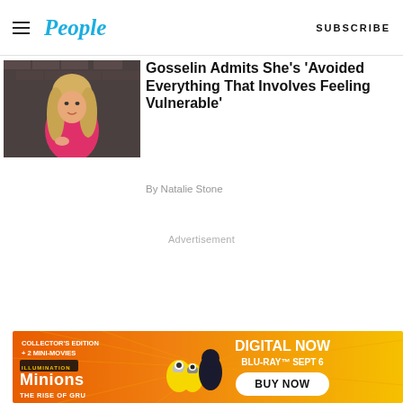People | SUBSCRIBE
[Figure (photo): Woman with blonde hair wearing a pink sleeveless top, sitting against a brick wall background]
Gosselin Admits She's 'Avoided Everything That Involves Feeling Vulnerable'
By Natalie Stone
Advertisement
[Figure (other): Minions: The Rise of Gru advertisement banner. Collector's Edition + 2 Mini-Movies. Digital Now. Blu-Ray Sept 6. Buy Now.]